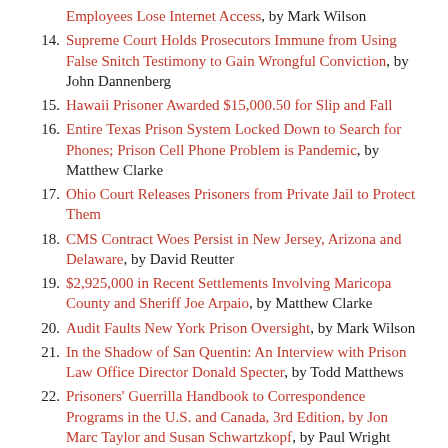Employees Lose Internet Access, by Mark Wilson
Supreme Court Holds Prosecutors Immune from Using False Snitch Testimony to Gain Wrongful Conviction, by John Dannenberg
Hawaii Prisoner Awarded $15,000.50 for Slip and Fall
Entire Texas Prison System Locked Down to Search for Phones; Prison Cell Phone Problem is Pandemic, by Matthew Clarke
Ohio Court Releases Prisoners from Private Jail to Protect Them
CMS Contract Woes Persist in New Jersey, Arizona and Delaware, by David Reutter
$2,925,000 in Recent Settlements Involving Maricopa County and Sheriff Joe Arpaio, by Matthew Clarke
Audit Faults New York Prison Oversight, by Mark Wilson
In the Shadow of San Quentin: An Interview with Prison Law Office Director Donald Specter, by Todd Matthews
Prisoners' Guerrilla Handbook to Correspondence Programs in the U.S. and Canada, 3rd Edition, by Jon Marc Taylor and Susan Schwartzkopf, by Paul Wright
Federal Three-Judge Panel Issues Tentative Ruling To Reduce California's Prison Population By Up To 57,000 In Three Years, by John Dannenberg
$3.6 Million Settlement in Michigan Prisoner's Segregation Cell Death